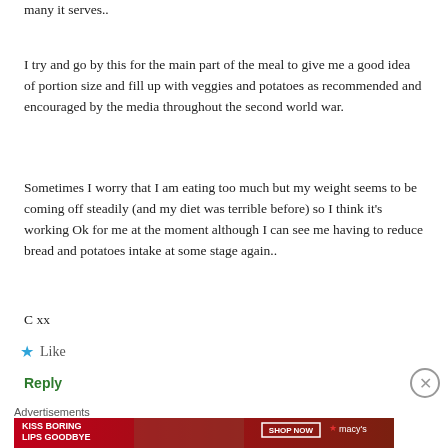many it serves..
I try and go by this for the main part of the meal to give me a good idea of portion size and fill up with veggies and potatoes as recommended and encouraged by the media throughout the second world war.
Sometimes I worry that I am eating too much but my weight seems to be coming off steadily (and my diet was terrible before) so I think it's working Ok for me at the moment although I can see me having to reduce bread and potatoes intake at some stage again..
C xx
Like
Reply
Advertisements
[Figure (infographic): Macy's advertisement banner: KISS BORING LIPS GOODBYE with SHOP NOW button and Macy's star logo, featuring a woman's face]